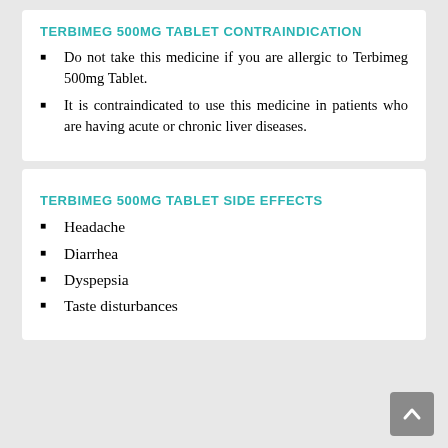TERBIMEG 500MG TABLET CONTRAINDICATION
Do not take this medicine if you are allergic to Terbimeg 500mg Tablet.
It is contraindicated to use this medicine in patients who are having acute or chronic liver diseases.
TERBIMEG 500MG TABLET SIDE EFFECTS
Headache
Diarrhea
Dyspepsia
Taste disturbances